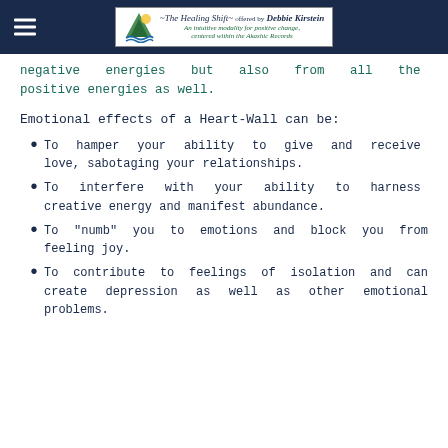~The Healing Shift~ offered by Debbie Kirstein — An intuitive modality for positive change, centered within the Akashic Records
negative energies but also from all the positive energies as well.
Emotional effects of a Heart-Wall can be:
To hamper your ability to give and receive love, sabotaging your relationships.
To interfere with your ability to harness creative energy and manifest abundance.
To "numb" you to emotions and block you from feeling joy.
To contribute to feelings of isolation and can create depression as well as other emotional problems.